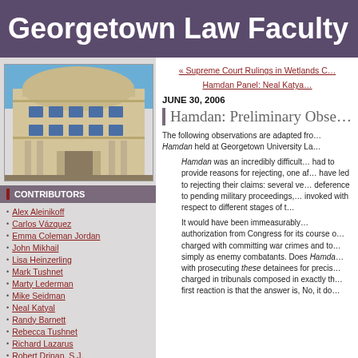Georgetown Law Faculty Blog
[Figure (photo): Exterior photo of Georgetown University Law Center building, modern circular architecture with stone facade and blue sky]
CONTRIBUTORS
Alex Aleinikoff
Carlos Vázquez
Emma Coleman Jordan
John Mikhail
Lisa Heinzerling
Mark Tushnet
Marty Lederman
Mike Seidman
Neal Katyal
Randy Barnett
Rebecca Tushnet
Richard Lazarus
Robert Drinan, S.J.
« Supreme Court Rulings in Wetlands C… Hamdan Panel: Neal Katya…
JUNE 30, 2006
Hamdan: Preliminary Obse…
The following observations are adapted fro… Hamdan held at Georgetown University La…
Hamdan was an incredibly difficult… had to provide reasons for rejecting, one af… have led to rejecting their claims: several ve… deference to pending military proceedings,… invoked with respect to different stages of t…
It would have been immeasurably… authorization from Congress for its course o… charged with committing war crimes and to… simply as enemy combatants. Does Hamda… with prosecuting these detainees for precis… charged in tribunals composed in exactly th… first reaction is that the answer is, No, it do…